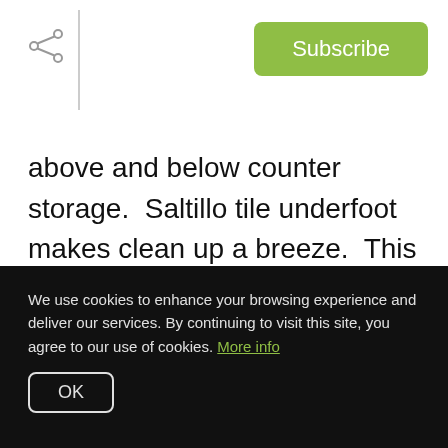Subscribe
above and below counter storage.  Saltillo tile underfoot makes clean up a breeze.  This kitchen is a great hub for everyday meals, as well as entertaining guests.
We use cookies to enhance your browsing experience and deliver our services. By continuing to visit this site, you agree to our use of cookies. More info
OK